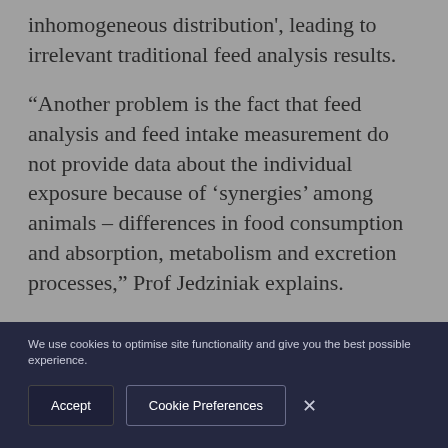inhomogeneous distribution', leading to irrelevant traditional feed analysis results.
“Another problem is the fact that feed analysis and feed intake measurement do not provide data about the individual exposure because of ‘synergies’ among animals – differences in food consumption and absorption, metabolism and excretion processes,” Prof Jedziniak explains.
“Due to all these difficulties, the exposure assessment of animals might include a much
We use cookies to optimise site functionality and give you the best possible experience.